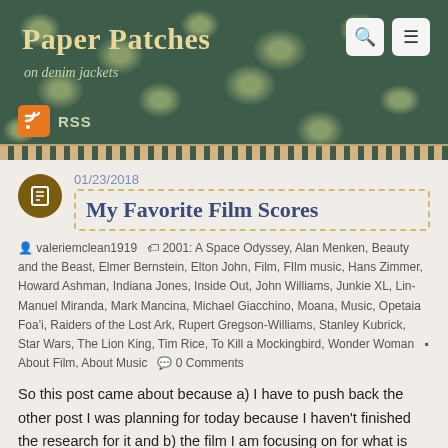Paper Patches — on denim jackets
My Favorite Film Scores
01/23/2018
valeriemclean1919   2001: A Space Odyssey, Alan Menken, Beauty and the Beast, Elmer Bernstein, Elton John, Film, FIlm music, Hans Zimmer, Howard Ashman, Indiana Jones, Inside Out, John Williams, Junkie XL, Lin-Manuel Miranda, Mark Mancina, Michael Giacchino, Moana, Music, Opetaia Foa'i, Raiders of the Lost Ark, Rupert Gregson-Williams, Stanley Kubrick, Star Wars, The Lion King, Tim Rice, To Kill a Mockingbird, Wonder Woman   About Film, About Music   0 Comments
So this post came about because a) I have to push back the other post I was planning for today because I haven't finished the research for it and b) the film I am focusing on for what is now next